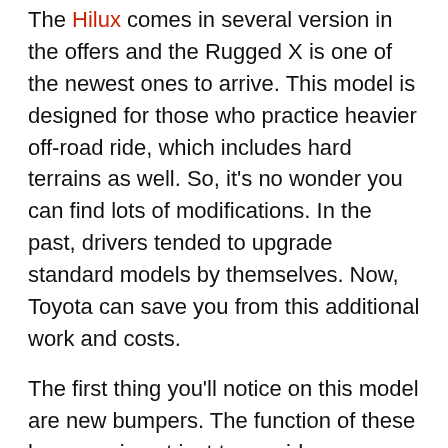The Hilux comes in several version in the offers and the Rugged X is one of the newest ones to arrive. This model is designed for those who practice heavier off-road ride, which includes hard terrains as well. So, it's no wonder you can find lots of modifications. In the past, drivers tended to upgrade standard models by themselves. Now, Toyota can save you from this additional work and costs.
The first thing you'll notice on this model are new bumpers. The function of these bumpers is not just to provide a more rugged look, but to provide better off-road capabilities as well. They are designed in such a manner to provide a much better approach and departure angles, which is definitely one of the most important things for a good off-road drive. The truck also sits a little bit higher than standard models. Finally, there is a massive steel underbody protection.